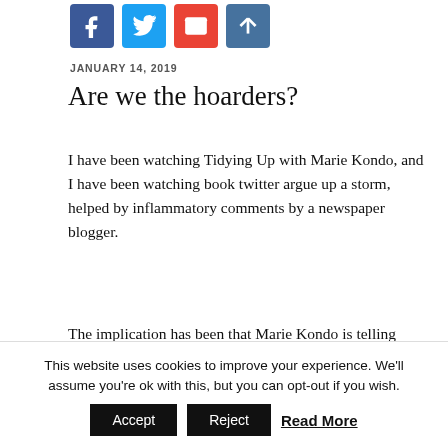[Figure (other): Social sharing icons: Facebook (blue), Twitter (blue), Mail (red), Share (blue)]
JANUARY 14, 2019
Are we the hoarders?
I have been watching Tidying Up with Marie Kondo, and I have been watching book twitter argue up a storm, helped by inflammatory comments by a newspaper blogger.
The implication has been that Marie Kondo is telling people to get rid of their books, to only keep a few and that this is monstrous. This was not my interpretation.
This website uses cookies to improve your experience. We'll assume you're ok with this, but you can opt-out if you wish.